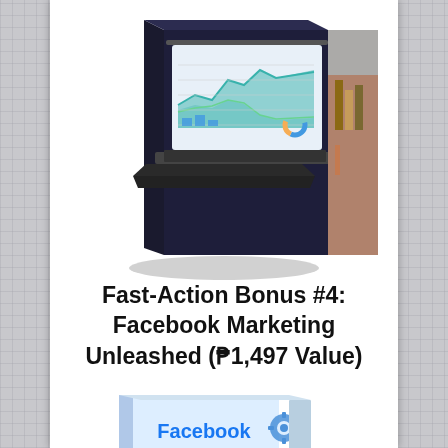[Figure (illustration): Book cover titled MASTERY showing a laptop with analytics dashboard charts on screen, positioned on a desk with a bookshelf in background. Book is shown in 3D perspective.]
Fast-Action Bonus #4: Facebook Marketing Unleashed (₱1,497 Value)
[Figure (illustration): Partial view of another book cover showing the word Facebook and a settings/gear icon, appearing at the bottom of the page, partially cropped.]